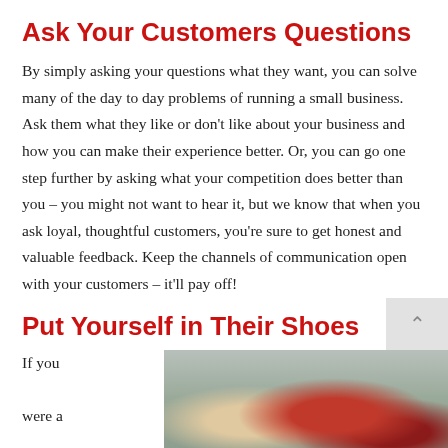Ask Your Customers Questions
By simply asking your questions what they want, you can solve many of the day to day problems of running a small business. Ask them what they like or don't like about your business and how you can make their experience better. Or, you can go one step further by asking what your competition does better than you – you might not want to hear it, but we know that when you ask loyal, thoughtful customers, you're sure to get honest and valuable feedback. Keep the channels of communication open with your customers – it'll pay off!
Put Yourself in Their Shoes
If you were a
[Figure (photo): Photograph of red shoes/boots on a grey concrete surface, partially visible at bottom right of page.]